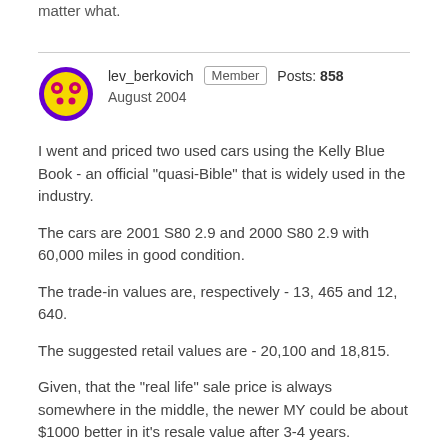matter what.
lev_berkovich  Member  Posts: 858
August 2004
I went and priced two used cars using the Kelly Blue Book - an official "quasi-Bible" that is widely used in the industry.
The cars are 2001 S80 2.9 and 2000 S80 2.9 with 60,000 miles in good condition.
The trade-in values are, respectively - 13, 465 and 12, 640.
The suggested retail values are - 20,100 and 18,815.
Given, that the "real life" sale price is always somewhere in the middle, the newer MY could be about $1000 better in it's resale value after 3-4 years.
It is nothing, compare to the discounts you normally get for the "past MY" cars, when the new one have arrived.